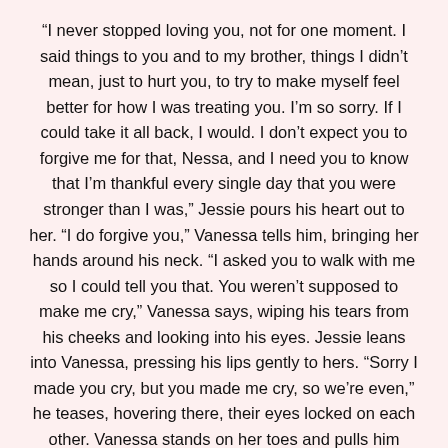“I never stopped loving you, not for one moment. I said things to you and to my brother, things I didn’t mean, just to hurt you, to try to make myself feel better for how I was treating you. I’m so sorry. If I could take it all back, I would. I don’t expect you to forgive me for that, Nessa, and I need you to know that I’m thankful every single day that you were stronger than I was,” Jessie pours his heart out to her. “I do forgive you,” Vanessa tells him, bringing her hands around his neck. “I asked you to walk with me so I could tell you that. You weren’t supposed to make me cry,” Vanessa says, wiping his tears from his cheeks and looking into his eyes. Jessie leans into Vanessa, pressing his lips gently to hers. “Sorry I made you cry, but you made me cry, so we’re even,” he teases, hovering there, their eyes locked on each other. Vanessa stands on her toes and pulls him closer, pressing her lips against his gently. Jessie is quick to respond, pulling her tightly against his body, his arms holding her close as their tongues dance. For a moment, they’re reminded of what was, the